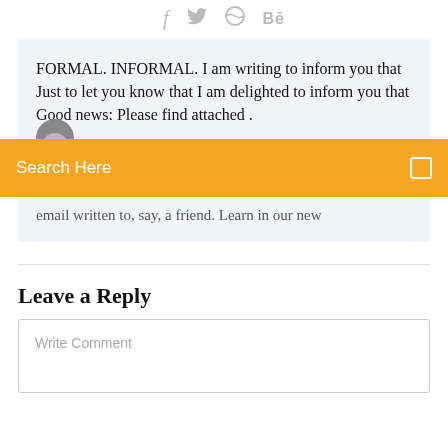[Figure (other): Social media icons: Facebook (f), Twitter bird, Dribbble, Behance (Bē)]
FORMAL. INFORMAL. I am writing to inform you that Just to let you know that I am delighted to inform you that Good news: Please find attached .
[Figure (other): Search bar with orange background, text 'Search Here' and a small square icon on the right]
email written to, say, a friend. Learn in our new
Leave a Reply
Write Comment